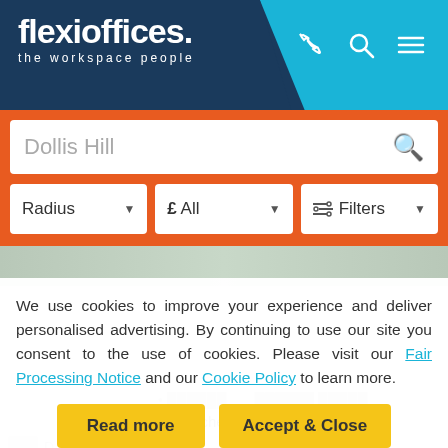[Figure (screenshot): Flexioffices website header with dark navy background, logo 'flexioffices. the workspace people', cyan diagonal section with phone, search and menu icons]
[Figure (screenshot): Orange search bar with 'Dollis Hill' text input and search icon, plus three filter dropdowns: Radius, £ All, and Filters]
We use cookies to improve your experience and deliver personalised advertising. By continuing to use our site you consent to the use of cookies. Please visit our Fair Processing Notice and our Cookie Policy to learn more.
[Figure (screenshot): Two yellow buttons: 'Read more' and 'Accept & Close']
Kitchen   Furnished
Dollis Hill (0.4 mi)
Willesden Green Station (0.8 mi)